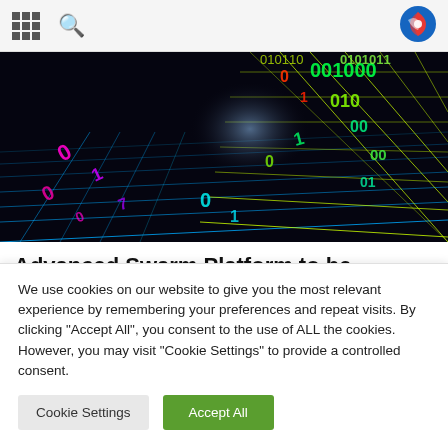Navigation bar with grid icon, search icon, and logo
[Figure (photo): Digital binary data visualization on a dark grid background with colorful glowing numbers (0s and 1s) in pink, red, green, cyan, and yellow colors arranged in a 3D perspective grid pattern]
Advanced Swarm Platform to be Integrated in Commercial Operations
We use cookies on our website to give you the most relevant experience by remembering your preferences and repeat visits. By clicking "Accept All", you consent to the use of ALL the cookies. However, you may visit "Cookie Settings" to provide a controlled consent.
Cookie Settings | Accept All